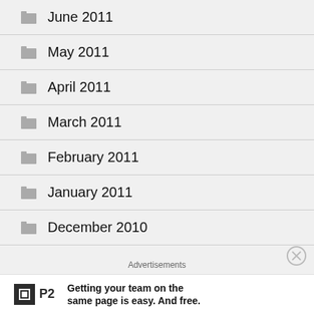June 2011
May 2011
April 2011
March 2011
February 2011
January 2011
December 2010
November 2010
Advertisements
[Figure (other): P2 advertisement banner with logo and text: Getting your team on the same page is easy. And free.]